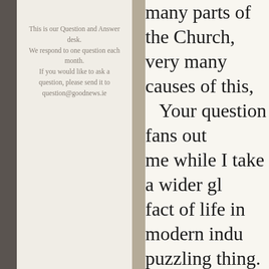This is our Question and Answer desk. We respond to one question each month. If you would like to ask a question, please send it to question@goodnews.ie
many parts of the Church, very many causes of this, Your question fans out me while I take a wider gl fact of life in modern indu puzzling thing. How is it t things and events we are m ever before? When I was a life, with none of the toys now, and yet I never reme trick of memory, to some emptiness. But I think it's expectation of novelty; a l Children are able to create few sticks and stones beco The problem is different...